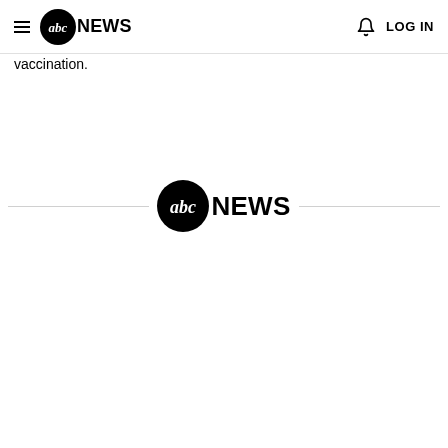abc NEWS  LOG IN
vaccination.
[Figure (logo): ABC News logo centered with horizontal lines on either side as a divider]